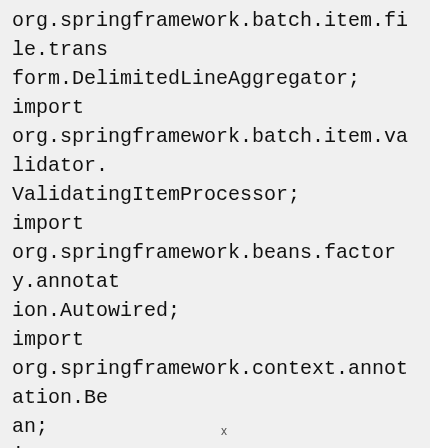org.springframework.batch.item.file.transform.DelimitedLineAggregator;
import
org.springframework.batch.item.validator.ValidatingItemProcessor;
import
org.springframework.beans.factory.annotation.Autowired;
import
org.springframework.context.annotation.Bean;
import
org.springframework.context.annotation.Configuration;
x